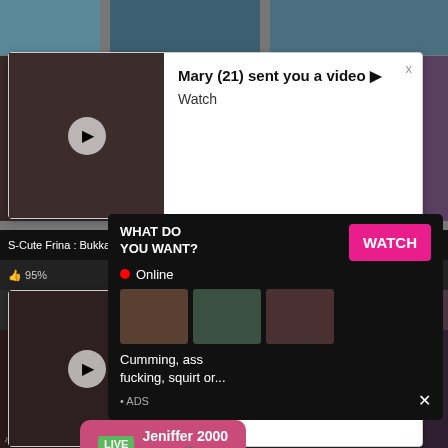[Figure (screenshot): Screenshot of an adult website with video thumbnails, notification popups, live chat bubble, and an advertisement overlay. Contains notifications reading 'Mary (21) sent you a video ▶' with 'Watch' links, a live chat from 'Jeniffer 2000', video titles 'S-Cute Frina : Bukkake Sex' and 'Japanese teen in pantyhose', and an ad popup asking 'WHAT DO YOU WANT?' with a pink 'WATCH' button, red online dot, thumbnails, and text 'Cumming, ass fucking, squirt or... • ADS'.]